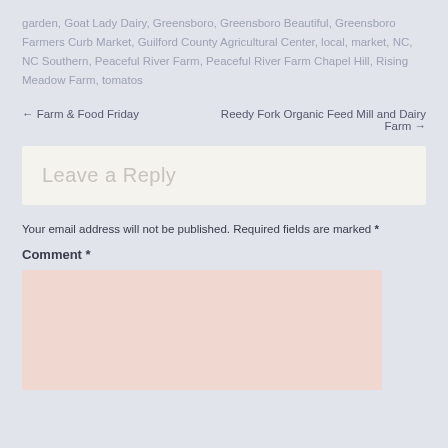garden, Goat Lady Dairy, Greensboro, Greensboro Beautiful, Greensboro Farmers Curb Market, Guilford County Agricultural Center, local, market, NC, NC Southern, Peaceful River Farm, Peaceful River Farm Chapel Hill, Rising Meadow Farm, tomatos
← Farm & Food Friday
Reedy Fork Organic Feed Mill and Dairy Farm →
Leave a Reply
Your email address will not be published. Required fields are marked *
Comment *